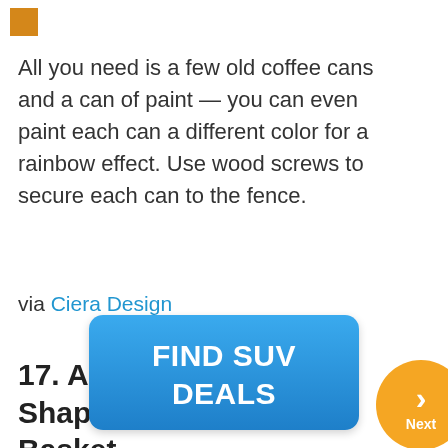[Figure (other): Small orange/golden square icon in top left corner]
All you need is a few old coffee cans and a can of paint — you can even paint each can a different color for a rainbow effect. Use wood screws to secure each can to the fence.
via Ciera Design
17. A Peacock-Shaped Fence Basket
[Figure (other): Orange circular Next navigation button with chevron arrow and 'Next' label]
[Figure (other): Blue rounded rectangle advertisement button with text 'FIND SUV DEALS']